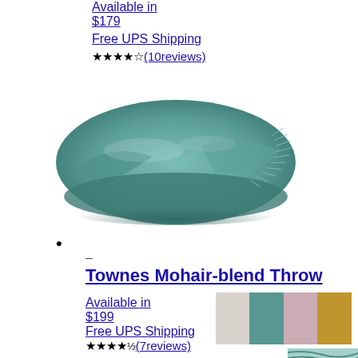Available in
$179
Free UPS Shipping
★★★★☆(10reviews)
[Figure (photo): Folded teal/green mohair-blend throw with fringe, photographed on white background]
•
-
Townes Mohair-blend Throw
[Figure (photo): Color swatches for Townes Mohair-blend Throw: beige/cream, teal, pink/mauve, mustard yellow]
Available in
$199
Free UPS Shipping
★★★★½(7reviews)
[Figure (photo): Partial view of a patterned throw at the bottom of the page]